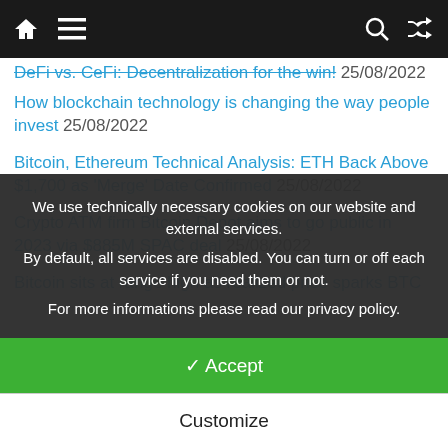Navigation bar with home icon, menu icon, search icon, shuffle icon
DeFi vs. CeFi: Decentralization for the win! 25/08/2022 (partially visible, strikethrough)
How blockchain technology is changing the way people invest 25/08/2022
Bitcoin, Ethereum Technical Analysis: ETH Back Above $1,700 as 'Merge' Date Confirmed 25/08/2022
Crypto ATM firm Bitcoin Depot aims to go public in 2023 via $885M SPAC deal 25/08/2022
Bitcoin sits at range high as realized price sparks BTC 'macro (partially visible)
We use technically necessary cookies on our website and external services.
By default, all services are disabled. You can turn or off each service if you need them or not.
For more informations please read our privacy policy.
✓ Accept
Customize